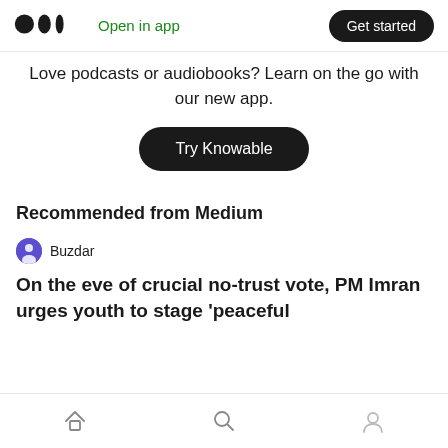Medium logo | Open in app | Get started
Love podcasts or audiobooks? Learn on the go with our new app.
Try Knowable
Recommended from Medium
Buzdar
On the eve of crucial no-trust vote, PM Imran urges youth to stage 'peaceful
Home | Search | Profile